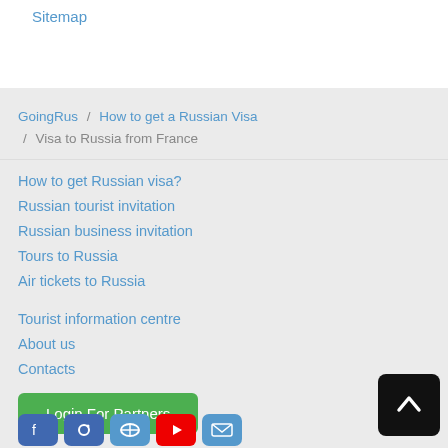Sitemap
GoingRus / How to get a Russian Visa / Visa to Russia from France
How to get Russian visa?
Russian tourist invitation
Russian business invitation
Tours to Russia
Air tickets to Russia
Tourist information centre
About us
Contacts
Login For Partners